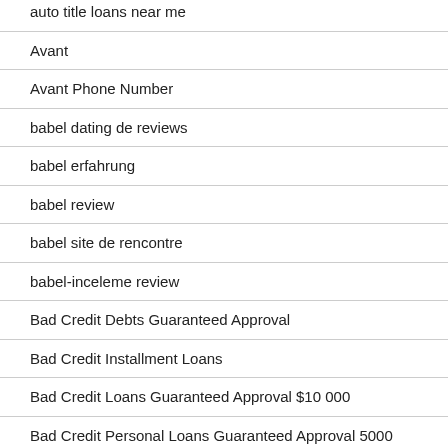auto title loans near me
Avant
Avant Phone Number
babel dating de reviews
babel erfahrung
babel review
babel site de rencontre
babel-inceleme review
Bad Credit Debts Guaranteed Approval
Bad Credit Installment Loans
Bad Credit Loans Guaranteed Approval $10 000
Bad Credit Personal Loans Guaranteed Approval 5000